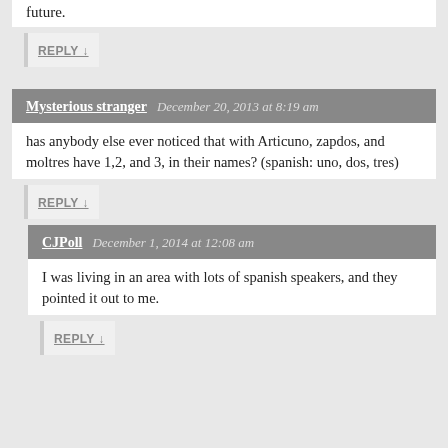future.
REPLY ↓
Mysterious stranger  December 20, 2013 at 8:19 am
has anybody else ever noticed that with Articuno, zapdos, and moltres have 1,2, and 3, in their names? (spanish: uno, dos, tres)
REPLY ↓
CJPoll  December 1, 2014 at 12:08 am
I was living in an area with lots of spanish speakers, and they pointed it out to me.
REPLY ↓